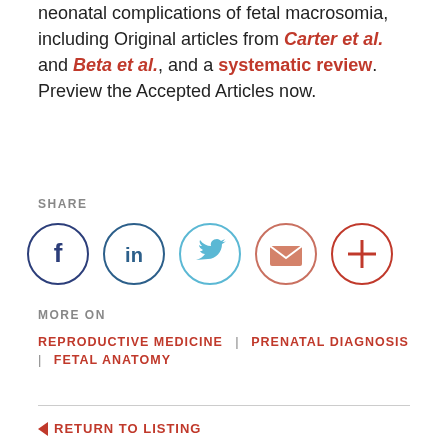neonatal complications of fetal macrosomia, including Original articles from Carter et al. and Beta et al., and a systematic review. Preview the Accepted Articles now.
SHARE
[Figure (infographic): Row of 5 social sharing icon circles: Facebook (dark blue outline, f), LinkedIn (dark blue outline, in), Twitter (light blue outline, bird), Email (red/salmon outline, envelope), More (red outline, plus sign)]
MORE ON
REPRODUCTIVE MEDICINE  |  PRENATAL DIAGNOSIS  |  FETAL ANATOMY
RETURN TO LISTING